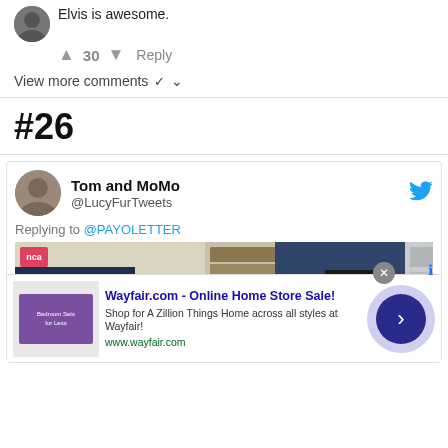Elvis is awesome.
▲ 30 ▼ Reply
View more comments ∨
#26
Tom and MoMo @LucyFurTweets
Replying to @PAYOLETTER
[Figure (photo): Photo of an office/classroom with blue walls, a monitor, bookshelves, and a letter board sign]
[Figure (screenshot): Wayfair.com advertisement: Online Home Store Sale! Shop for A Zillion Things Home across all styles at Wayfair! www.wayfair.com]